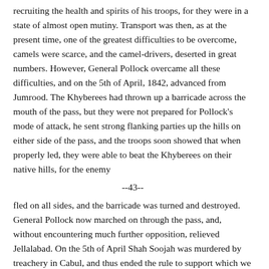recruiting the health and spirits of his troops, for they were in a state of almost open mutiny. Transport was then, as at the present time, one of the greatest difficulties to be overcome, camels were scarce, and the camel-drivers, deserted in great numbers. However, General Pollock overcame all these difficulties, and on the 5th of April, 1842, advanced from Jumrood. The Khyberees had thrown up a barricade across the mouth of the pass, but they were not prepared for Pollock's mode of attack, he sent strong flanking parties up the hills on either side of the pass, and the troops soon showed that when properly led, they were able to beat the Khyberees on their native hills, for the enemy
--43--
fled on all sides, and the barricade was turned and destroyed. General Pollock now marched on through the pass, and, without encountering much further opposition, relieved Jellalabad. On the 5th of April Shah Soojah was murdered by treachery in Cabul, and thus ended the rule to support which we had spent so much blood and treasure. While these events had been taking place at Cabul, and on the east of the seat of war, General Nott, at Candahar, in the south-west, had been much pressed by the enemy; a relieving force which he had sent out to Cabul had failed to display the requisite energy, and had consequently returned without